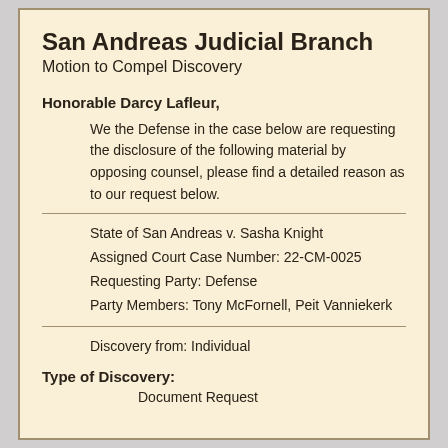San Andreas Judicial Branch
Motion to Compel Discovery
Honorable Darcy Lafleur,
We the Defense in the case below are requesting the disclosure of the following material by opposing counsel, please find a detailed reason as to our request below.
State of San Andreas v. Sasha Knight
Assigned Court Case Number: 22-CM-0025
Requesting Party: Defense
Party Members: Tony McFornell, Peit Vanniekerk
Discovery from: Individual
Type of Discovery:
Document Request